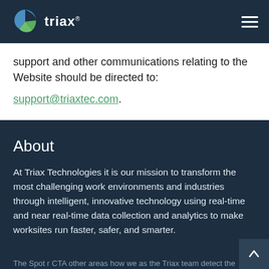triax®
support and other communications relating to the Website should be directed to: support@triaxtec.com.
About
At Triax Technologies it is our mission to transform the most challenging work environments and industries through intelligent, innovative technology using real-time and near real-time data collection and analytics to make worksites run faster, safer, and smarter.
The Spot r CTA other areas how we as the Triax team detect the presence of for from